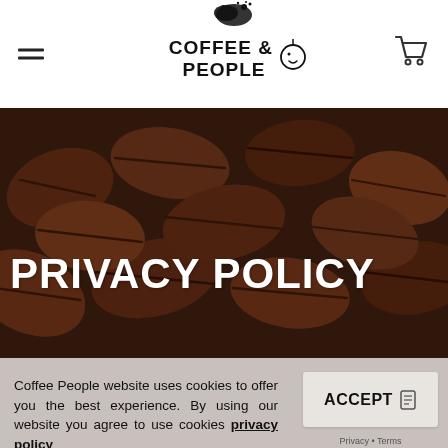Coffee People
[Figure (photo): Close-up photo of dark roasted coffee beans filling the entire frame, with a dark brownish overlay. Large white bold uppercase text 'PRIVACY POLICY' overlaid on the lower-left area of the image.]
PRIVACY POLICY
Coffee People website uses cookies to offer you the best experience. By using our website you agree to use cookies privacy policy